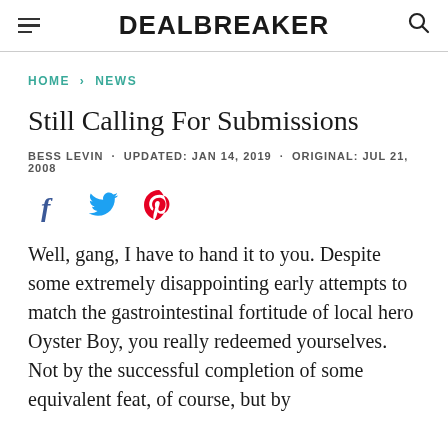DEALBREAKER
HOME › NEWS
Still Calling For Submissions
BESS LEVIN · UPDATED: JAN 14, 2019 · ORIGINAL: JUL 21, 2008
[Figure (other): Social share icons: Facebook, Twitter, Pinterest]
Well, gang, I have to hand it to you. Despite some extremely disappointing early attempts to match the gastrointestinal fortitude of local hero Oyster Boy, you really redeemed yourselves. Not by the successful completion of some equivalent feat, of course, but by